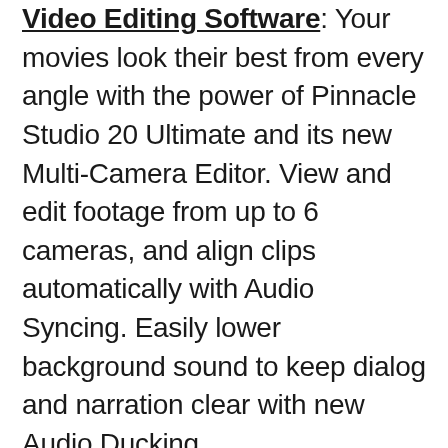Video Editing Software: Your movies look their best from every angle with the power of Pinnacle Studio 20 Ultimate and its new Multi-Camera Editor. View and edit footage from up to 6 cameras, and align clips automatically with Audio Syncing. Easily lower background sound to keep dialog and narration clear with new Audio Ducking.